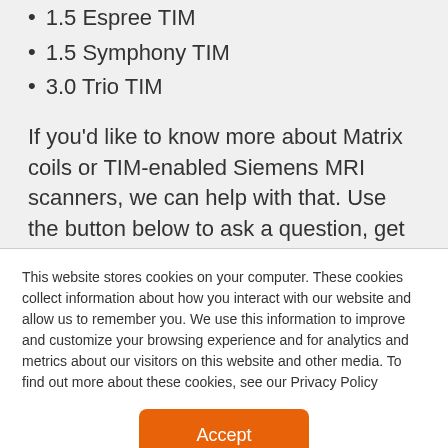1.5 Espree TIM
1.5 Symphony TIM
3.0 Trio TIM
If you'd like to know more about Matrix coils or TIM-enabled Siemens MRI scanners, we can help with that. Use the button below to ask a question, get a quote, or get a project started.
[Figure (other): Red button labeled 'Request MRI Machine Prices']
This website stores cookies on your computer. These cookies collect information about how you interact with our website and allow us to remember you. We use this information to improve and customize your browsing experience and for analytics and metrics about our visitors on this website and other media. To find out more about these cookies, see our Privacy Policy
[Figure (other): Orange 'Accept' button for cookie consent]